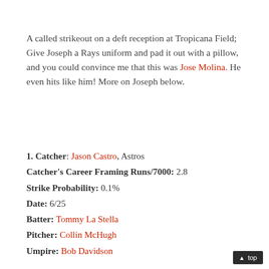A called strikeout on a deft reception at Tropicana Field; Give Joseph a Rays uniform and pad it out with a pillow, and you could convince me that this was Jose Molina. He even hits like him! More on Joseph below.
1. Catcher: Jason Castro, Astros
Catcher's Career Framing Runs/7000: 2.8
Strike Probability: 0.1%
Date: 6/25
Batter: Tommy La Stella
Pitcher: Collin McHugh
Umpire: Bob Davidson